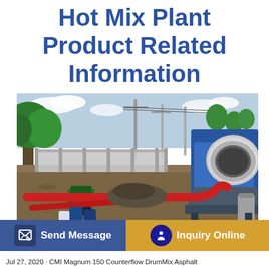Hot Mix Plant Product Related Information
[Figure (photo): A hot mix plant / asphalt mixing equipment on a construction site. A large blue and white drum mixer machine is parked on the right. Red pipes and hoses extend along the ground. Gravel and construction materials are scattered around. Trees and power lines are visible in the background. A metal fence runs across the scene.]
...asphalt Contractor Aug...2020 by ...os.com
Jul 27, 2020 · CMI Magnum 150 Counterflow DrumMix Asphalt